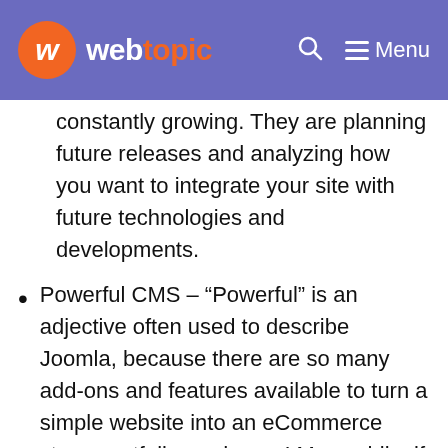webtopic — Menu
constantly growing. They are planning future releases and analyzing how you want to integrate your site with future technologies and developments.
Powerful CMS – “Powerful” is an adjective often used to describe Joomla, because there are so many add-ons and features available to turn a simple website into an eCommerce store, portfolio, and more! Meanwhile, if